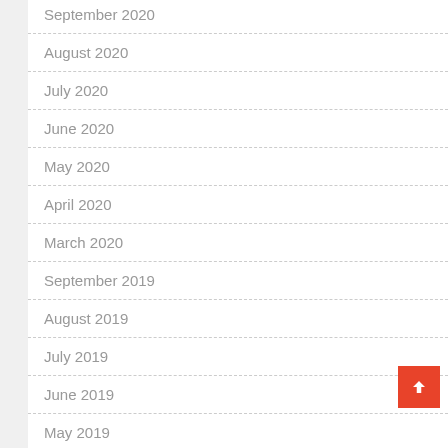September 2020
August 2020
July 2020
June 2020
May 2020
April 2020
March 2020
September 2019
August 2019
July 2019
June 2019
May 2019
April 2019